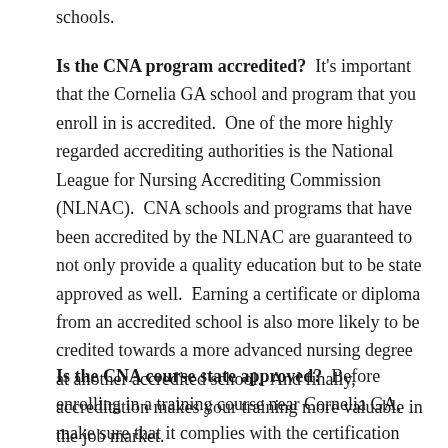schools.
Is the CNA program accredited?  It's important that the Cornelia GA school and program that you enroll in is accredited.  One of the more highly regarded accrediting authorities is the National League for Nursing Accrediting Commission (NLNAC).  CNA schools and programs that have been accredited by the NLNAC are guaranteed to not only provide a quality education but to be state approved as well.  Earning a certificate or diploma from an accredited school is also more likely to be credited towards a more advanced nursing degree at another accredited school.  And finally, accreditation makes your training more valuable in the job market.
Is the CNA course state approved?  Before enrolling in a training course near Cornelia GA, make sure that it complies with the certification requirements for Georgia or the state where you will be practicing.  It should not